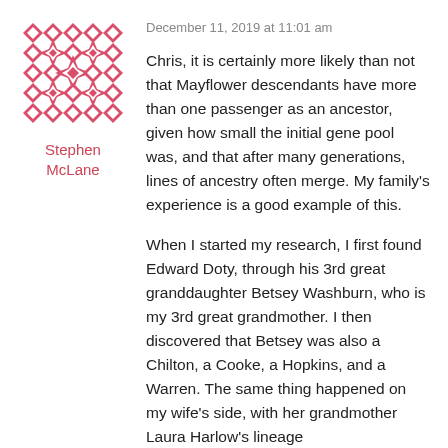[Figure (illustration): Square avatar icon with a red/pink geometric quilt-like pattern made of diamond and star shapes on white background]
Stephen McLane
December 11, 2019 at 11:01 am
Chris, it is certainly more likely than not that Mayflower descendants have more than one passenger as an ancestor, given how small the initial gene pool was, and that after many generations, lines of ancestry often merge. My family's experience is a good example of this.

When I started my research, I first found Edward Doty, through his 3rd great granddaughter Betsey Washburn, who is my 3rd great grandmother. I then discovered that Betsey was also a Chilton, a Cooke, a Hopkins, and a Warren. The same thing happened on my wife's side, with her grandmother Laura Harlow's lineage